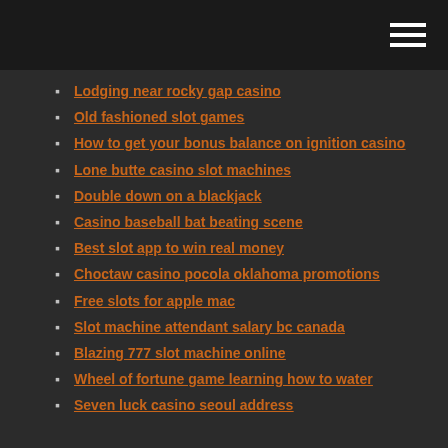Lodging near rocky gap casino
Old fashioned slot games
How to get your bonus balance on ignition casino
Lone butte casino slot machines
Double down on a blackjack
Casino baseball bat beating scene
Best slot app to win real money
Choctaw casino pocola oklahoma promotions
Free slots for apple mac
Slot machine attendant salary bc canada
Blazing 777 slot machine online
Wheel of fortune game learning how to water
Seven luck casino seoul address